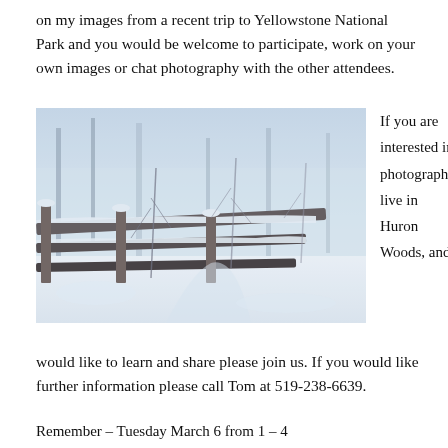on my images from a recent trip to Yellowstone National Park and you would be welcome to participate, work on your own images or chat photography with the other attendees.
[Figure (photo): Black and white / blue-toned winter photograph of snow-covered wooden fence rails and bare branches in a snowy forest scene, likely from Huron Woods or Yellowstone area.]
If you are interested in photography, live in Huron Woods, and would like to learn and share please join us. If you would like further information please call Tom at 519-238-6639.
Remember – Tuesday March 6 from 1 – 4